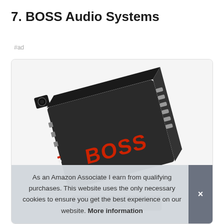7. BOSS Audio Systems
#ad
[Figure (photo): A black BOSS Audio Systems car amplifier shown at an angle, with red BOSS logo on top and connector ports visible on the sides]
As an Amazon Associate I earn from qualifying purchases. This website uses the only necessary cookies to ensure you get the best experience on our website. More information